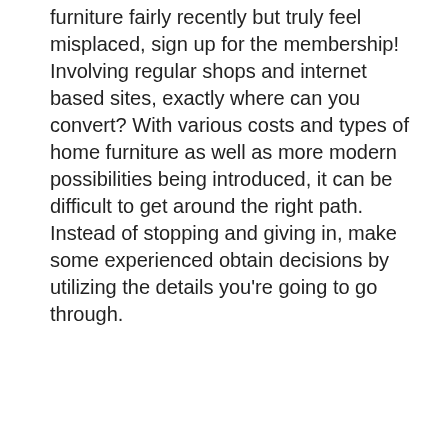furniture fairly recently but truly feel misplaced, sign up for the membership! Involving regular shops and internet based sites, exactly where can you convert? With various costs and types of home furniture as well as more modern possibilities being introduced, it can be difficult to get around the right path. Instead of stopping and giving in, make some experienced obtain decisions by utilizing the details you're going to go through.